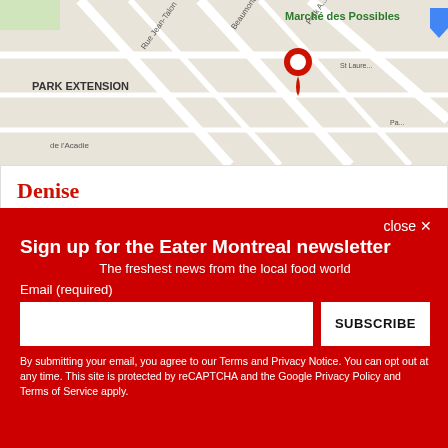[Figure (map): Google Maps view of Park Extension neighborhood in Montreal, showing streets including Rue Jean-Talon, Beaumont Ave, Park Ave, with a red location pin marker and labels for PARK EXTENSION and Marché des Possibles]
Denise
386 Avenue Beaumont, Villeray—Saint-Michel—Parc-Extension, QC H3N 1T4
(514) 664-4637
Visit Website
close ✕
Sign up for the Eater Montreal newsletter
The freshest news from the local food world
Email (required)
SUBSCRIBE
By submitting your email, you agree to our Terms and Privacy Notice. You can opt out at any time. This site is protected by reCAPTCHA and the Google Privacy Policy and Terms of Service apply.